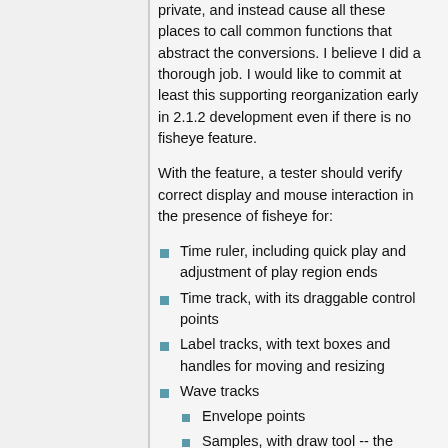private, and instead cause all these places to call common functions that abstract the conversions. I believe I did a thorough job. I would like to commit at least this supporting reorganization early in 2.1.2 development even if there is no fisheye feature.
With the feature, a tester should verify correct display and mouse interaction in the presence of fisheye for:
Time ruler, including quick play and adjustment of play region ends
Time track, with its draggable control points
Label tracks, with text boxes and handles for moving and resizing
Wave tracks
Envelope points
Samples, with draw tool -- the fisheye can be zoomed enough to be editable while the background is not.
Zoom tool dragging
Time shift tool
Expanding and deleting cut lines (see the Tracks preferences)